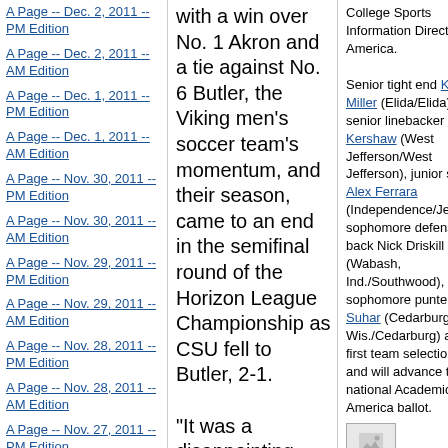A Page -- Dec. 2, 2011 -- PM Edition
A Page -- Dec. 2, 2011 -- AM Edition
A Page -- Dec. 1, 2011 -- PM Edition
A Page -- Dec. 1, 2011 -- AM Edition
A Page -- Nov. 30, 2011 -- PM Edition
A Page -- Nov. 30, 2011 -- AM Edition
A Page -- Nov. 29, 2011 -- PM Edition
A Page -- Nov. 29, 2011 -- AM Edition
A Page -- Nov. 28, 2011 -- PM Edition
A Page -- Nov. 28, 2011 -- AM Edition
A Page -- Nov. 27, 2011 -- PM Edition
A Page -- Nov. 27, 2011 -- AM Edition
A Page -- Nov. 26, 2011 --
with a win over No. 1 Akron and a tie against No. 6 Butler, the Viking men's soccer team's momentum, and their season, came to an end in the semifinal round of the Horizon League Championship as CSU fell to Butler, 2-1.

"It was a disappointing way for the season to end," head coach Ali Kazemaini said. "We did a lot of good things this
College Sports Information Directors of America.

Senior tight end Kyle Miller (Elida/Elida), senior linebacker Sam Kershaw (West Jefferson/West Jefferson), junior safety Alex Ferrara (Independence/Jesuit), sophomore defensive back Nick Driskill (Wabash, Ind./Southwood), and sophomore punter Zak Suhar (Cedarburg, Wis./Cedarburg) are all first team selections and will advance to the national Academic All-America ballot.
[Figure (photo): Small image placeholder in bottom right column]